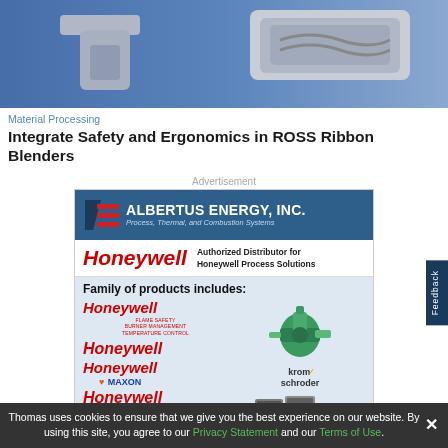[Figure (photo): Industrial ribbon blender equipment photo on blue background]
Material Processing
Integrate Safety and Ergonomics in ROSS Ribbon Blenders
Advertisement
[Figure (illustration): Albertus Energy, Inc. advertisement banner. Authorized Distributor for Honeywell Process Solutions. Family of products includes: Honeywell Flame Safety Burner Management Temperature Control, Honeywell, Honeywell, Maxon, Krom Schroder, Honeywell. Shows green industrial pump and control equipment images.]
Thomas uses cookies to ensure that we give you the best experience on our website. By using this site, you agree to our Privacy Statement and our Terms of Use.